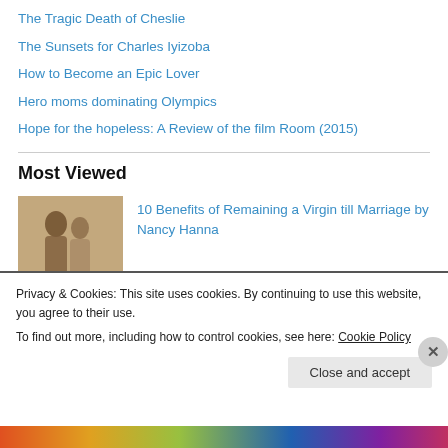The Tragic Death of Cheslie
The Sunsets for Charles Iyizoba
How to Become an Epic Lover
Hero moms dominating Olympics
Hope for the hopeless: A Review of the film Room (2015)
Most Viewed
[Figure (photo): Thumbnail photo of a couple, vintage style]
10 Benefits of Remaining a Virgin till Marriage by Nancy Hanna
Privacy & Cookies: This site uses cookies. By continuing to use this website, you agree to their use.
To find out more, including how to control cookies, see here: Cookie Policy